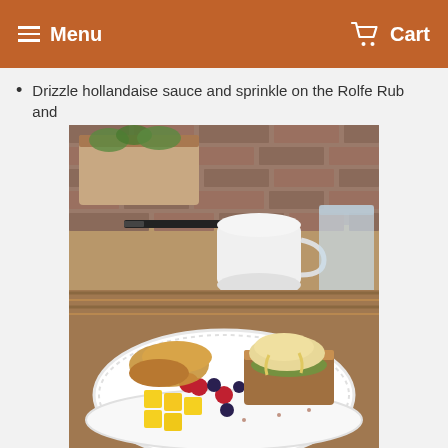Menu  Cart
Drizzle hollandaise sauce and sprinkle on the Rolfe Rub and
[Figure (photo): A white plate with eggs benedict on toast with hollandaise sauce, fresh fruit including mango cubes, raspberries and blueberries, and a croissant. In the background are a white coffee mug, a glass of water, and a potted plant on a wooden table with a brick wall.]